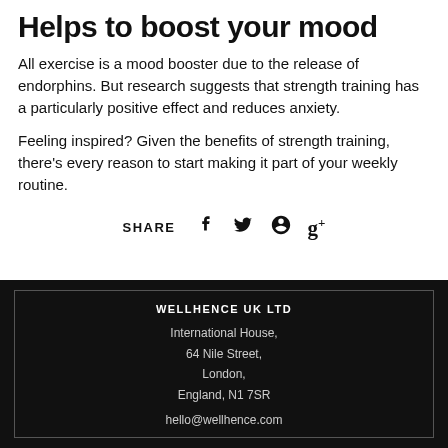Helps to boost your mood
All exercise is a mood booster due to the release of endorphins. But research suggests that strength training has a particularly positive effect and reduces anxiety.
Feeling inspired? Given the benefits of strength training, there’s every reason to start making it part of your weekly routine.
SHARE
WELLHENCE UK LTD
International House,
64 Nile Street,
London,
England, N1 7SR
hello@wellhence.com